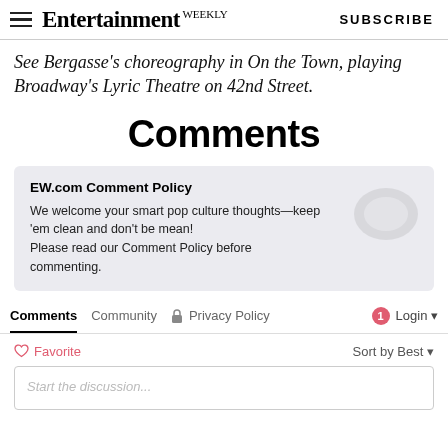Entertainment Weekly | SUBSCRIBE
See Bergasse's choreography in On the Town, playing Broadway's Lyric Theatre on 42nd Street.
Comments
EW.com Comment Policy
We welcome your smart pop culture thoughts—keep 'em clean and don't be mean!
Please read our Comment Policy before commenting.
Comments  Community  🔒 Privacy Policy  1 Login ▾
♡ Favorite   Sort by Best ▾
Start the discussion...